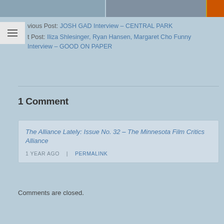[Figure (photo): Cropped image strip showing two photos side by side at top of page, with an orange badge on the right]
Previous Post: JOSH GAD Interview – CENTRAL PARK
Next Post: Iliza Shlesinger, Ryan Hansen, Margaret Cho Funny Interview – GOOD ON PAPER
1 Comment
The Alliance Lately: Issue No. 32 – The Minnesota Film Critics Alliance
1 YEAR AGO | PERMALINK
Comments are closed.